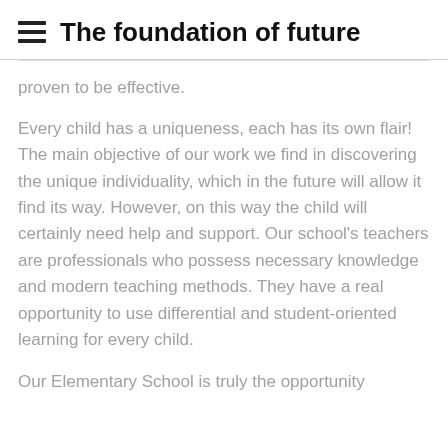The foundation of future
proven to be effective.
Every child has a uniqueness, each has its own flair! The main objective of our work we find in discovering the unique individuality, which in the future will allow it find its way. However, on this way the child will certainly need help and support. Our school's teachers are professionals who possess necessary knowledge and modern teaching methods. They have a real opportunity to use differential and student-oriented learning for every child.
Our Elementary School is truly the opportunity